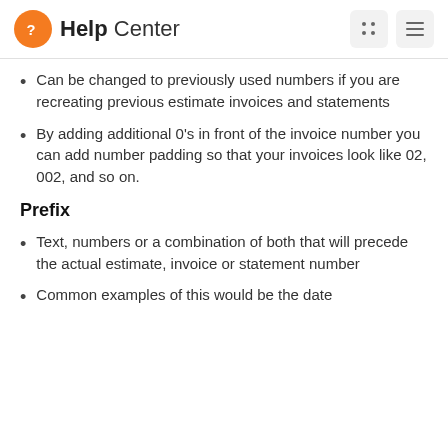Help Center
Can be changed to previously used numbers if you are recreating previous estimate invoices and statements
By adding additional 0's in front of the invoice number you can add number padding so that your invoices look like 02, 002, and so on.
Prefix
Text, numbers or a combination of both that will precede the actual estimate, invoice or statement number
Common examples of this would be the date